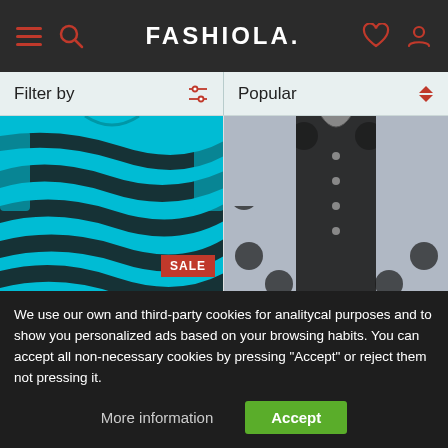FASHIOLA.
Filter by | Popular
[Figure (photo): Cyan/turquoise zebra-print short-sleeve shirt on white background with SALE badge in red]
$111.00  $159.00
FIVE CM
Zebra-print short-sleeve s...
[Figure (photo): Grey and black patterned short-sleeve shirt by Acne Studios on white background]
$420.00
Acne Studios
Short sleeve shirt
We use our own and third-party cookies for analitycal purposes and to show you personalized ads based on your browsing habits. You can accept all non-necessary cookies by pressing "Accept" or reject them not pressing it.
More information | Accept